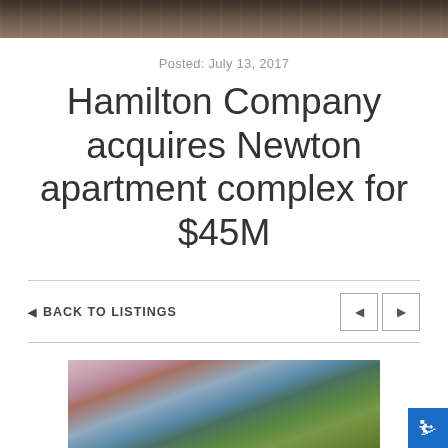[Figure (photo): Website header banner with dark brownish background image (building/architecture)]
Posted: July 13, 2017
Hamilton Company acquires Newton apartment complex for $45M
◄ BACK TO LISTINGS
[Figure (photo): Exterior photo of Newton apartment complex with blooming pink trees in foreground and building visible in background with blue sky]